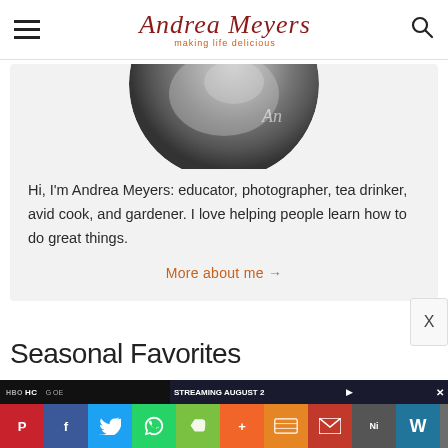Andrea Meyers — making life delicious
[Figure (photo): Circular cropped black and white photo of Andrea Meyers, showing close-up face/skin in grayscale tones]
Hi, I'm Andrea Meyers: educator, photographer, tea drinker, avid cook, and gardener. I love helping people learn how to do great things.
More about me →
Seasonal Favorites
[Figure (screenshot): Advertisement banner showing HBO streaming ad and social sharing icons (Pinterest, Facebook, Twitter, WhatsApp, Evernote, etc.)]